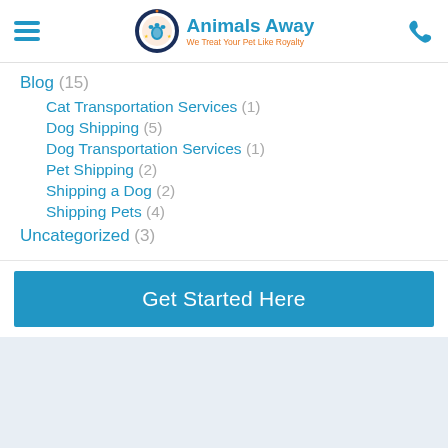[Figure (logo): Animals Away logo with paw print icon and tagline 'We Treat Your Pet Like Royalty']
Blog (15)
Cat Transportation Services (1)
Dog Shipping (5)
Dog Transportation Services (1)
Pet Shipping (2)
Shipping a Dog (2)
Shipping Pets (4)
Uncategorized (3)
Get Started Here
[Figure (illustration): Partial circular icon with sparkle/cleaning graphic on light blue background]